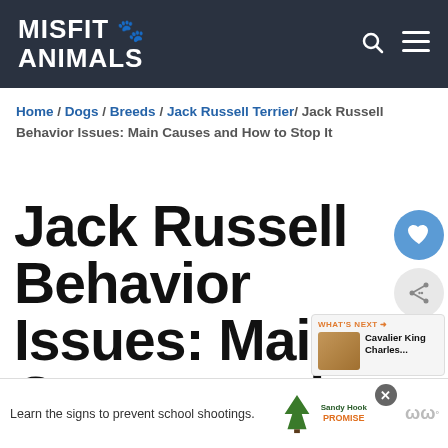MISFIT ANIMALS
Home / Dogs / Breeds / Jack Russell Terrier / Jack Russell Behavior Issues: Main Causes and How to Stop It
Jack Russell Behavior Issues: Main Causes and How to Stop It
WHAT'S NEXT → Cavalier King Charles...
Learn the signs to prevent school shootings.